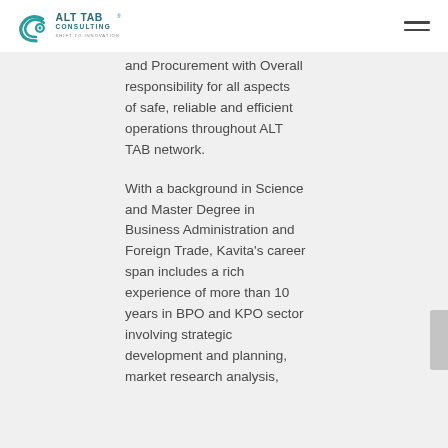ALT TAB CONSULTING — SHIFT TO INNOVATION
and Procurement with Overall responsibility for all aspects of safe, reliable and efficient operations throughout ALT TAB network.
With a background in Science and Master Degree in Business Administration and Foreign Trade, Kavita's career span includes a rich experience of more than 10 years in BPO and KPO sector involving strategic development and planning, market research analysis,